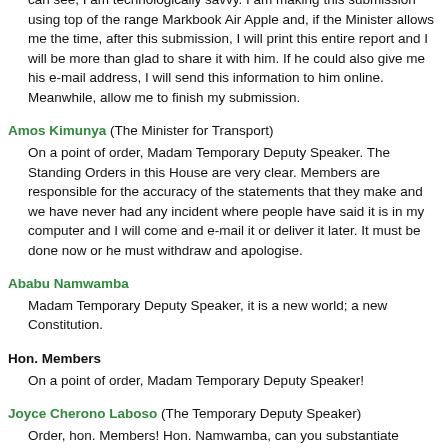can see, I am technologically savvy. I am making this submission using top of the range Markbook Air Apple and, if the Minister allows me the time, after this submission, I will print this entire report and I will be more than glad to share it with him. If he could also give me his e-mail address, I will send this information to him online. Meanwhile, allow me to finish my submission.
Amos Kimunya (The Minister for Transport)
On a point of order, Madam Temporary Deputy Speaker. The Standing Orders in this House are very clear. Members are responsible for the accuracy of the statements that they make and we have never had any incident where people have said it is in my computer and I will come and e-mail it or deliver it later. It must be done now or he must withdraw and apologise.
Ababu Namwamba
Madam Temporary Deputy Speaker, it is a new world; a new Constitution.
Hon. Members
On a point of order, Madam Temporary Deputy Speaker!
Joyce Cherono Laboso (The Temporary Deputy Speaker)
Order, hon. Members! Hon. Namwamba, can you substantiate